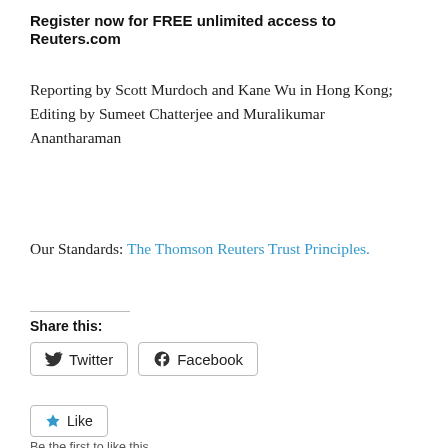Register now for FREE unlimited access to Reuters.com
Reporting by Scott Murdoch and Kane Wu in Hong Kong; Editing by Sumeet Chatterjee and Muralikumar Anantharaman
Our Standards: The Thomson Reuters Trust Principles.
Share this:
Twitter  Facebook
Like
Be the first to like this.
Blog: Perspectives from    Blog: China's